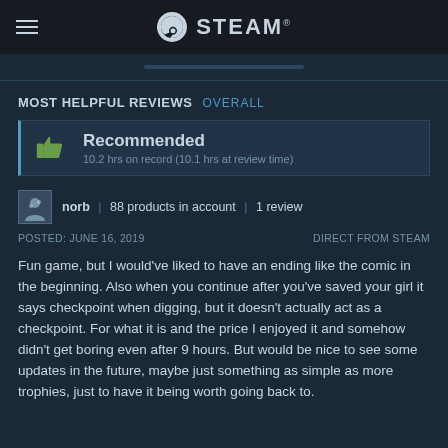STEAM
MOST HELPFUL REVIEWS  OVERALL
Recommended
10.2 hrs on record (10.1 hrs at review time)
norb | 88 products in account | 1 review
POSTED: JUNE 16, 2019   DIRECT FROM STEAM
Fun game, but I would've liked to have an ending like the comic in the beginning. Also when you continue after you've saved your girl it says checkpoint when digging, but it doesn't actually act as a checkpoint. For what it is and the price I enjoyed it and somehow didn't get boring even after 9 hours. But would be nice to see some updates in the future, maybe just something as simple as more trophies, just to have it being worth going back to.